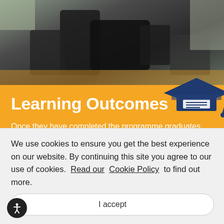[Figure (photo): Overhead/angled photo of a person in dark clothing with camera/equipment, dark and grey tones]
Learning Outcomes
Once they have completed the programme graduates will be able to:
Evaluate critical arguments and information to frame appropriate questions and make
We use cookies to ensure you get the best experience on our website. By continuing this site you agree to our use of cookies. Read our Cookie Policy to find out more.
I accept